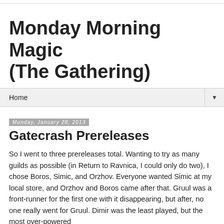Monday Morning Magic (The Gathering)
Home
Monday, January 28, 2013
Gatecrash Prereleases
So I went to three prereleases total. Wanting to try as many guilds as possible (in Return to Ravnica, I could only do two), I chose Boros, Simic, and Orzhov. Everyone wanted Simic at my local store, and Orzhov and Boros came after that. Gruul was a front-runner for the first one with it disappearing, but after, no one really went for Gruul. Dimir was the least played, but the most over-powered